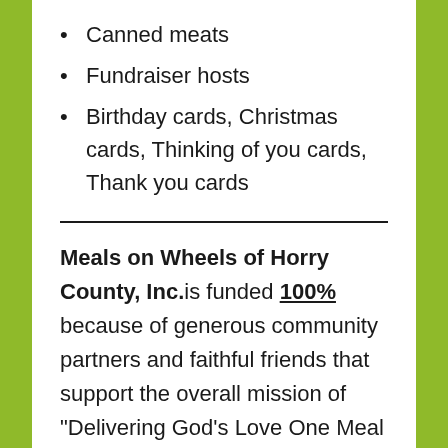Canned meats
Fundraiser hosts
Birthday cards, Christmas cards, Thinking of you cards, Thank you cards
Meals on Wheels of Horry County, Inc. is funded 100% because of generous community partners and faithful friends that support the overall mission of “Delivering God’s Love One Meal at a